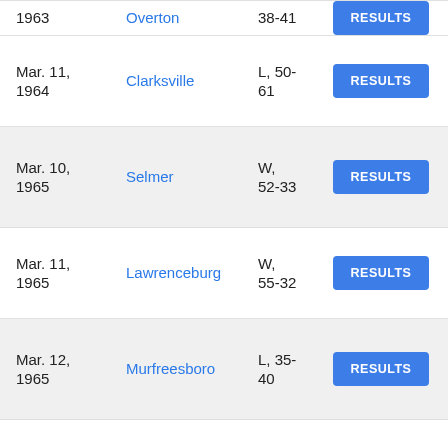| Date | Opponent | Result | Action |
| --- | --- | --- | --- |
| Mar. 11, 1964 | Clarksville | L, 50-61 | RESULTS |
| Mar. 10, 1965 | Selmer | W, 52-33 | RESULTS |
| Mar. 11, 1965 | Lawrenceburg | W, 55-32 | RESULTS |
| Mar. 12, 1965 | Murfreesboro | L, 35-40 | RESULTS |
| Mar. 13, 1965 | Chattanooga City | W, 34-30 | RESULTS |
| Mar. 10, 1966 | Knoxville South | W, ... | RESULTS |